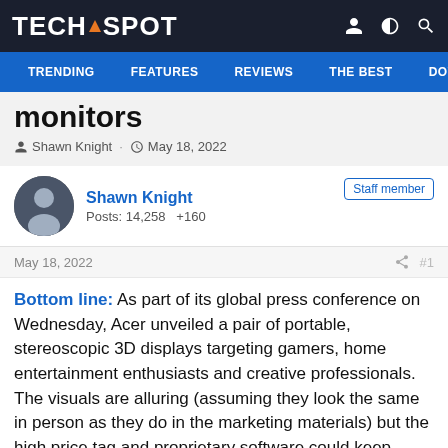TECHSPOT — TRENDING | FEATURES | REVIEWS | THE BEST | DOWNLC
monitors
Shawn Knight · May 18, 2022
Shawn Knight
Posts: 14,258  +160
Staff member
May 18, 2022  #1
Bottom line: As part of its global press conference on Wednesday, Acer unveiled a pair of portable, stereoscopic 3D displays targeting gamers, home entertainment enthusiasts and creative professionals. The visuals are alluring (assuming they look the same in person as they do in the marketing materials) but the high price tag and proprietary software could keep some